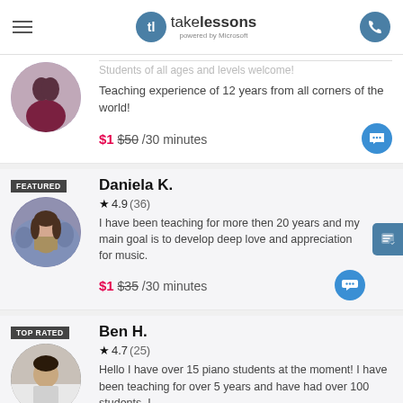takelessons powered by Microsoft
Students of all ages and levels welcome! Teaching experience of 12 years from all corners of the world!
$1 $50/30 minutes
Daniela K.
★4.9(36)
I have been teaching for more then 20 years and my main goal is to develop deep love and appreciation for music.
$1 $35/30 minutes
Ben H.
★4.7(25)
Hello I have over 15 piano students at the moment! I have been teaching for over 5 years and have had over 100 students. I